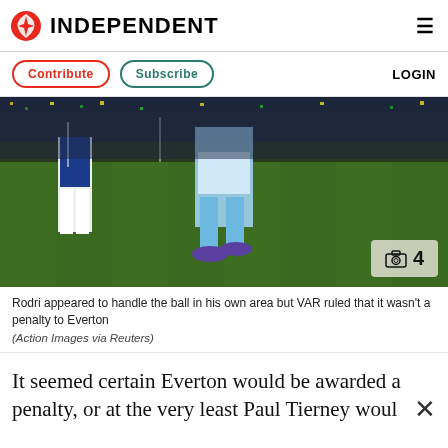INDEPENDENT
Contribute  Subscribe  LOGIN
[Figure (photo): Football match photo showing a Manchester City player in sky blue kit on the pitch, with an Everton player in blue and white behind, and a packed stadium crowd in the background. Camera icon badge showing '4' in bottom right corner.]
Rodri appeared to handle the ball in his own area but VAR ruled that it wasn't a penalty to Everton
(Action Images via Reuters)
It seemed certain Everton would be awarded a penalty, or at the very least Paul Tierney woul